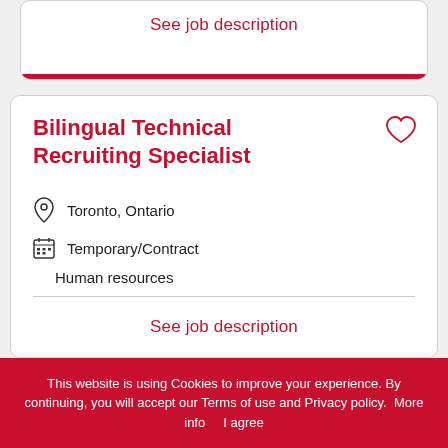See job description
Bilingual Technical Recruiting Specialist
Toronto, Ontario
Temporary/Contract
Human resources
See job description
This website is using Cookies to improve your experience. By continuing, you will accept our Terms of use and Privacy policy.  More info     I agree